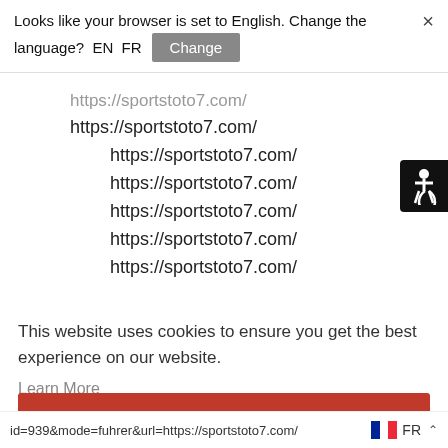Looks like your browser is set to English. Change the language?  EN  FR  Change  ×
https://sportstoto7.com/
https://sportstoto7.com/
https://sportstoto7.com/
https://sportstoto7.com/
https://sportstoto7.com/
https://sportstoto7.com/
This website uses cookies to ensure you get the best experience on our website.
Learn More
Got it!
id=939&mode=fuhrer&url=https://sportstoto7.com/
FR